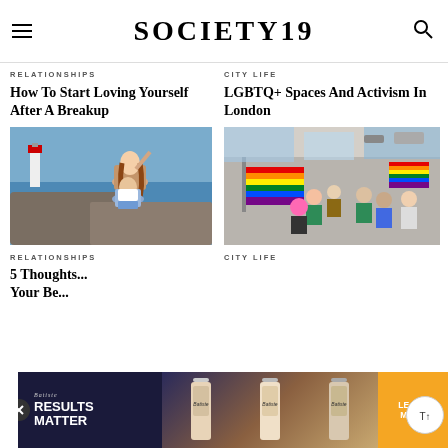SOCIETY19
RELATIONSHIPS
How To Start Loving Yourself After A Breakup
[Figure (photo): Two women on rocky coastal cliffs near a lighthouse, one sitting on the other's back, arms raised, with ocean and blue sky in background]
CITY LIFE
LGBTQ+ Spaces And Activism In London
[Figure (photo): Pride parade crowd holding rainbow flags in a busy city street, with participants in colorful clothing]
RELATIONSHIPS
5 Thoughts... Your Be...
CITY LIFE
[Figure (other): Batiste hair products advertisement banner: 'RESULTS MATTER' with product bottles and 'LEARN MORE' button]